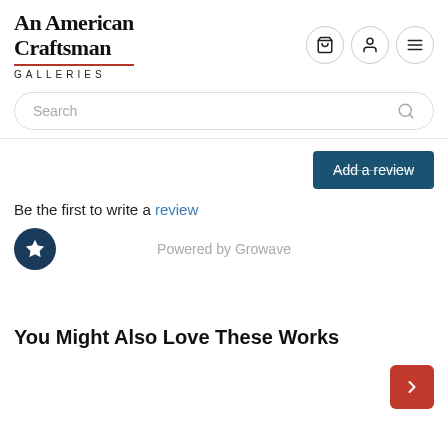[Figure (logo): An American Craftsman Galleries logo with serif title text and spaced uppercase subtitle, red underline accent]
[Figure (screenshot): Navigation icons: cart, user profile, hamburger menu — each in circular border buttons]
Search
Add a review
Be the first to write a review
Powered by Growave
You Might Also Love These Works
[Figure (other): Red right-arrow navigation button]